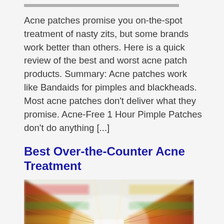Acne patches promise you on-the-spot treatment of nasty zits, but some brands work better than others. Here is a quick review of the best and worst acne patch products. Summary: Acne patches work like Bandaids for pimples and blackheads. Most acne patches don't deliver what they promise. Acne-Free 1 Hour Pimple Patches don't do anything [...]
Best Over-the-Counter Acne Treatment
[Figure (photo): A blurred photo of a person pushing a shopping cart down a brightly lit supermarket aisle, viewed from behind, with shelves of colorful products on both sides and ceiling lights creating a converging perspective effect.]